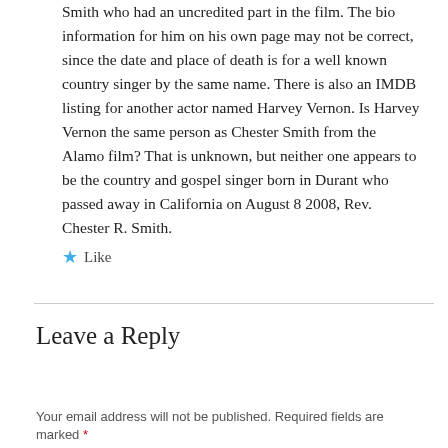Smith who had an uncredited part in the film. The bio information for him on his own page may not be correct, since the date and place of death is for a well known country singer by the same name. There is also an IMDB listing for another actor named Harvey Vernon. Is Harvey Vernon the same person as Chester Smith from the Alamo film? That is unknown, but neither one appears to be the country and gospel singer born in Durant who passed away in California on August 8 2008, Rev. Chester R. Smith.
Like
Leave a Reply
Your email address will not be published. Required fields are marked *